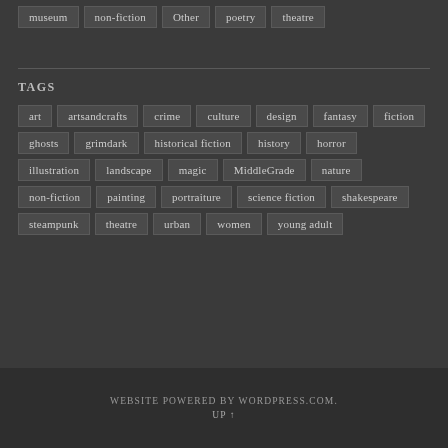museum
non-fiction
Other
poetry
theatre
TAGS
art
artsandcrafts
crime
culture
design
fantasy
fiction
ghosts
grimdark
historical fiction
history
horror
illustration
landscape
magic
MiddleGrade
nature
non-fiction
painting
portraiture
science fiction
shakespeare
steampunk
theatre
urban
women
young adult
WEBSITE POWERED BY WORDPRESS.COM. UP ↑